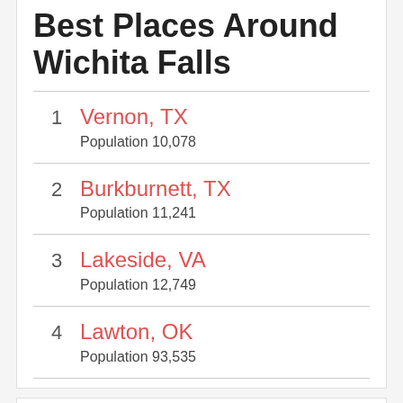Best Places Around Wichita Falls
1 Vernon, TX Population 10,078
2 Burkburnett, TX Population 11,241
3 Lakeside, VA Population 12,749
4 Lawton, OK Population 93,535